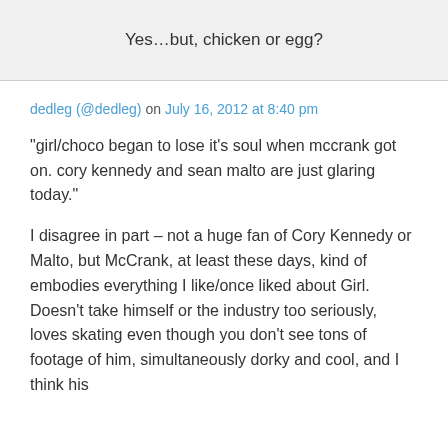Yes…but, chicken or egg?
dedleg (@dedleg) on July 16, 2012 at 8:40 pm
“girl/choco began to lose it’s soul when mccrank got on. cory kennedy and sean malto are just glaring today.”
I disagree in part – not a huge fan of Cory Kennedy or Malto, but McCrank, at least these days, kind of embodies everything I like/once liked about Girl. Doesn’t take himself or the industry too seriously, loves skating even though you don’t see tons of footage of him, simultaneously dorky and cool, and I think his